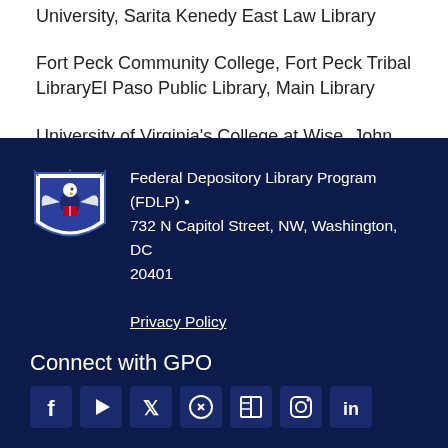University, Sarita Kenedy East Law Library
Fort Peck Community College, Fort Peck Tribal LibraryEl Paso Public Library, Main Library
University of Virginia's College at Wise, John Cook Wyllie Library
Federal Depository Library Program (FDLP) • 732 N Capitol Street, NW, Washington, DC 20401
Privacy Policy
Connect with GPO